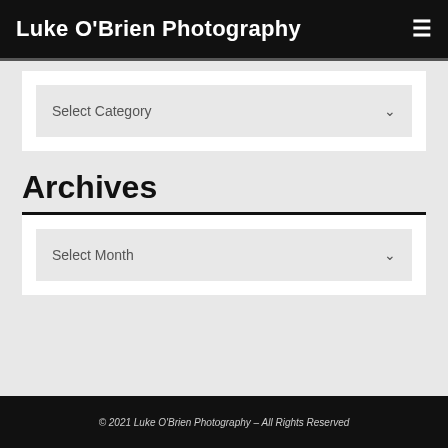Luke O'Brien Photography
Select Category
Archives
Select Month
© 2021 Luke O'Brien Photography – All Rights Reserved